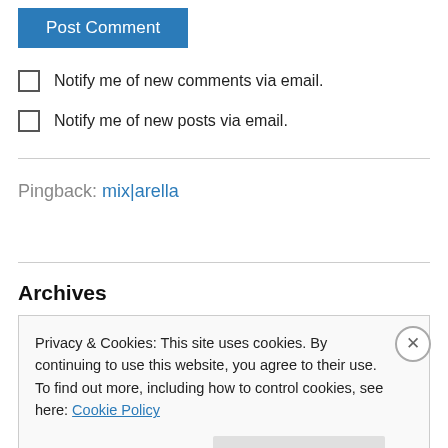Post Comment
Notify me of new comments via email.
Notify me of new posts via email.
Pingback: mix|arella
Archives
Privacy & Cookies: This site uses cookies. By continuing to use this website, you agree to their use.
To find out more, including how to control cookies, see here: Cookie Policy
Close and accept